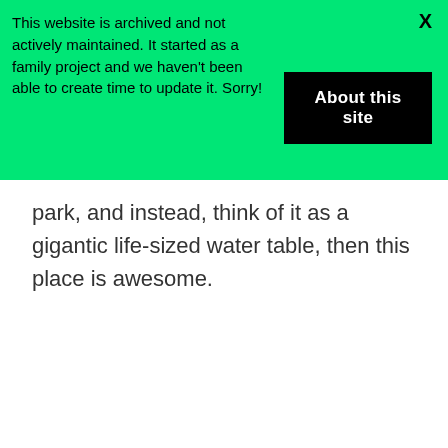This website is archived and not actively maintained. It started as a family project and we haven't been able to create time to update it. Sorry!
About this site
X
park, and instead, think of it as a gigantic life-sized water table, then this place is awesome.